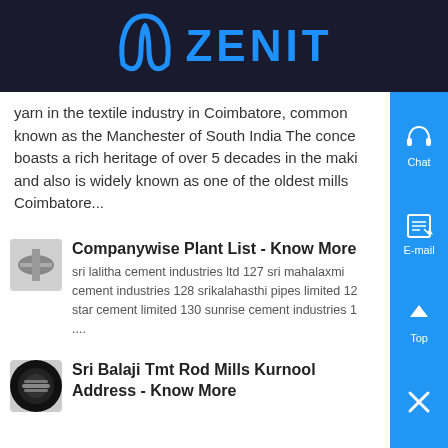ZENIT
yarn in the textile industry in Coimbatore, commonly known as the Manchester of South India The conce boasts a rich heritage of over 5 decades in the maki and also is widely known as one of the oldest mills Coimbatore...
[Figure (photo): Thumbnail image of industrial equipment]
Companywise Plant List - Know More
sri lalitha cement industries ltd 127 sri mahalaxmi cement industries 128 srikalahasthi pipes limited 12 star cement limited 130 sunrise cement industries 1 ....
[Figure (photo): Thumbnail image of TMT rods]
Sri Balaji Tmt Rod Mills Kurnool Address - Know More